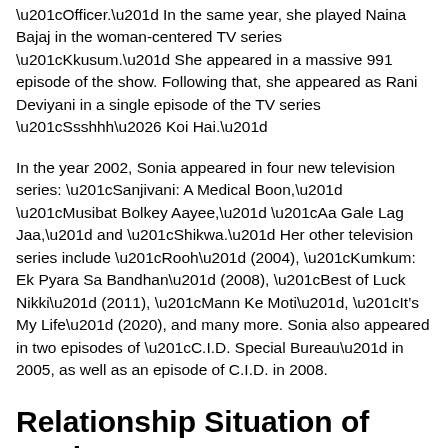“Officer.” In the same year, she played Naina Bajaj in the woman-centered TV series “Kkusum.” She appeared in a massive 991 episode of the show. Following that, she appeared as Rani Deviyani in a single episode of the TV series “Ssshhh… Koi Hai.”
In the year 2002, Sonia appeared in four new television series: “Sanjivani: A Medical Boon,” “Musibat Bolkey Aayee,” “Aa Gale Lag Jaa,” and “Shikwa.” Her other television series include “Rooh” (2004), “Kumkum: Ek Pyara Sa Bandhan” (2008), “Best of Luck Nikki” (2011), “Mann Ke Moti”, “It’s My Life” (2020), and many more. Sonia also appeared in two episodes of “C.I.D. Special Bureau” in 2005, as well as an episode of C.I.D. in 2008.
Relationship Situation of Sonia Kapoor